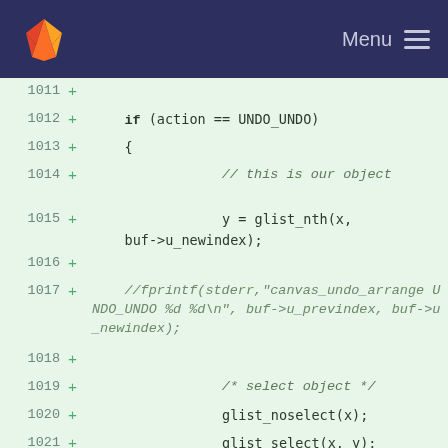GitLab — Menu
[Figure (screenshot): Code diff view showing lines 1011-1024 with added lines (marked with +) in a green background, showing C code for canvas_undo_arrange function]
1011 +
1012 +     if (action == UNDO_UNDO)
1013 +     {
1014 +                 // this is our object
1015 +                 y = glist_nth(x, buf->u_newindex);
1016 +
1017 +     //fprintf(stderr,"canvas_undo_arrange UNDO_UNDO %d %d\n", buf->u_previndex, buf->u_newindex);
1018 +
1019 +                 /* select object */
1020 +                 glist_noselect(x);
1021 +                 glist_select(x, y);
1022 +
1023 +                 if (buf->u_newindex)
1024 +                 {